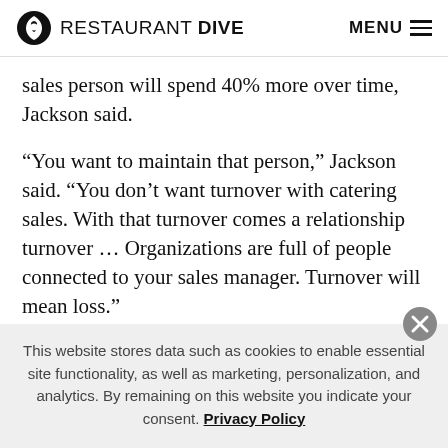RESTAURANT DIVE  MENU
sales person will spend 40% more over time, Jackson said.
“You want to maintain that person,” Jackson said. “You don’t want turnover with catering sales. With that turnover comes a relationship turnover … Organizations are full of people connected to your sales manager. Turnover will mean loss.”
Catering sales managers need to have base salaries north
This website stores data such as cookies to enable essential site functionality, as well as marketing, personalization, and analytics. By remaining on this website you indicate your consent. Privacy Policy